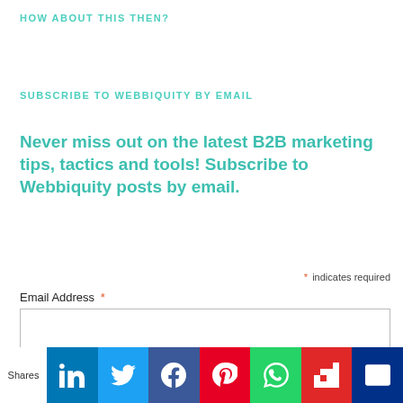HOW ABOUT THIS THEN?
SUBSCRIBE TO WEBBIQUITY BY EMAIL
Never miss out on the latest B2B marketing tips, tactics and tools! Subscribe to Webbiquity posts by email.
* indicates required
Email Address *
SUBSCRIBE
[Figure (infographic): Social sharing bar with icons for LinkedIn, Twitter, Facebook, Pinterest, WhatsApp, Flipboard, and email. Labeled 'Shares' on the left.]